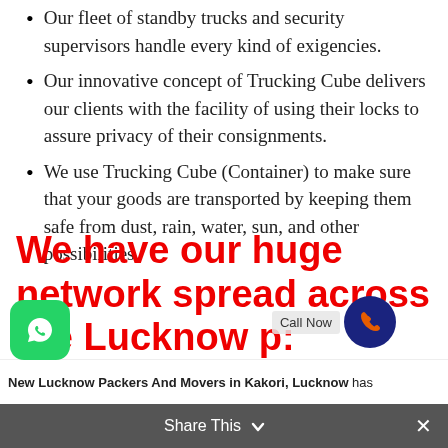Our fleet of standby trucks and security supervisors handle every kind of exigencies.
Our innovative concept of Trucking Cube delivers our clients with the facility of using their locks to assure privacy of their consignments.
We use Trucking Cube (Container) to make sure that your goods are transported by keeping them safe from dust, rain, water, sun, and other possibilities.
We have our huge network spread across the Lucknow p:
New Lucknow Packers And Movers in Kakori, Lucknow has